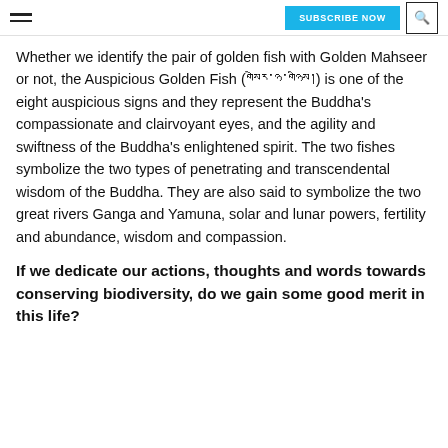SUBSCRIBE NOW
Whether we identify the pair of golden fish with Golden Mahseer or not, the Auspicious Golden Fish (གསེར་ཉ་གཉིས།) is one of the eight auspicious signs and they represent the Buddha's compassionate and clairvoyant eyes, and the agility and swiftness of the Buddha's enlightened spirit. The two fishes symbolize the two types of penetrating and transcendental wisdom of the Buddha. They are also said to symbolize the two great rivers Ganga and Yamuna, solar and lunar powers, fertility and abundance, wisdom and compassion.
If we dedicate our actions, thoughts and words towards conserving biodiversity, do we gain some good merit in this life?